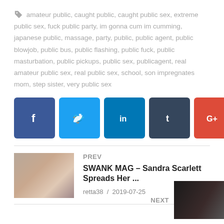amateur public, caught public, caught public sex, extreme public sex, fuck public party, im gonna cum im cumming, japanese public, massage, party, public, public agent, public blowjob, public bus, public flashing, public fuck, public masturbation, public pickups, public sex, publicagent, real amateur public sex, real public sex, school, son impregnates mom, step sister, very public sex
[Figure (other): Social media share buttons: Facebook (blue), Twitter (light blue), LinkedIn (blue), Tumblr (dark navy), Google+ (red), Pinterest (dark red), VK (black), Email (green)]
PREV
[Figure (photo): Thumbnail image for previous post]
SWANK MAG – Sandra Scarlett Spreads Her ...
retta38  /  2019-07-25
NEXT
[Figure (photo): Thumbnail image for next post (dark)]